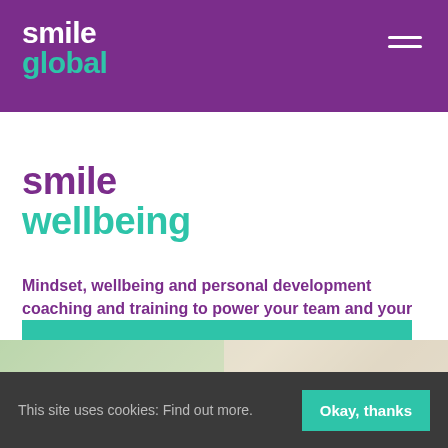smile global
smile wellbeing
Mindset, wellbeing and personal development coaching and training to power your team and your business
BOOK YOUR FREE CONSULTATION >
[Figure (photo): Blurred interior room background with window and light-colored brick wall]
This site uses cookies: Find out more. Okay, thanks